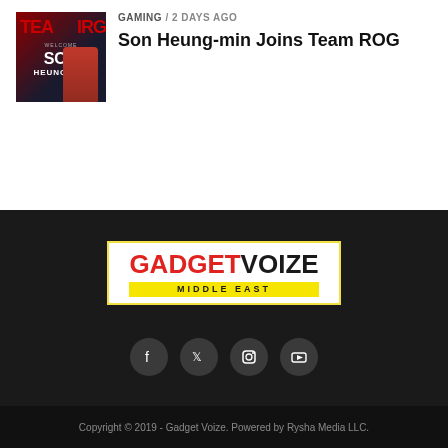[Figure (photo): Thumbnail image for Team ROG article showing Son Heung-min welcome graphic with red and dark background]
GAMING / 2 days ago
Son Heung-min Joins Team ROG
[Figure (logo): Gadget Voize Middle East logo — GADGET in red, VOIZE in black, MIDDLE EAST on yellow banner, white background with yellow border]
[Figure (other): Social media icons: Facebook, Twitter, Instagram, YouTube on dark circular backgrounds]
ABOUT   ADVERTISE   CONTACT   REVIEWS POLICY
Copyright © 2019 - Gadget Voize. Powered by Rysha Media LLC.